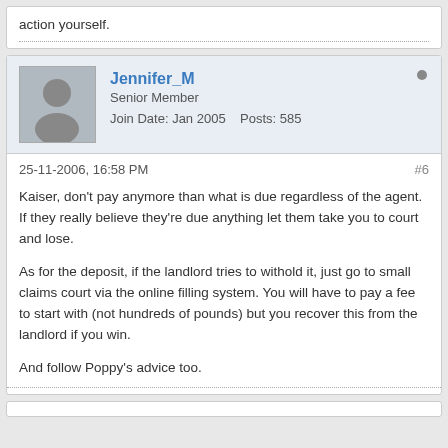action yourself.
Jennifer_M
Senior Member
Join Date: Jan 2005    Posts: 585
25-11-2006, 16:58 PM
#6
Kaiser, don't pay anymore than what is due regardless of the agent. If they really believe they're due anything let them take you to court and lose.

As for the deposit, if the landlord tries to withold it, just go to small claims court via the online filling system. You will have to pay a fee to start with (not hundreds of pounds) but you recover this from the landlord if you win.

And follow Poppy's advice too.